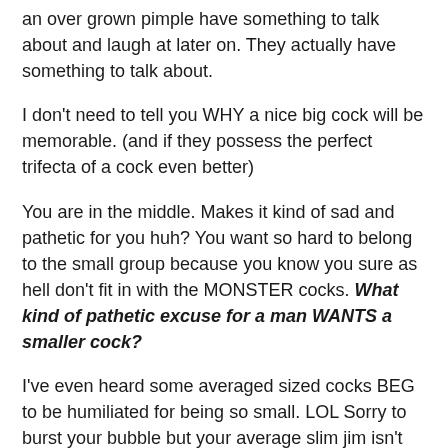an over grown pimple have something to talk about and laugh at later on. They actually have something to talk about.
I don't need to tell you WHY a nice big cock will be memorable. (and if they possess the perfect trifecta of a cock even better)
You are in the middle. Makes it kind of sad and pathetic for you huh? You want so hard to belong to the small group because you know you sure as hell don't fit in with the MONSTER cocks. What kind of pathetic excuse for a man WANTS a smaller cock?
I've even heard some averaged sized cocks BEG to be humiliated for being so small. LOL Sorry to burst your bubble but your average slim jim isn't memorable. You will be forgotten after the call. You have no real redeeming qualities when it comes to your cock.
You are average. Nothing exciting, nothing memorable,